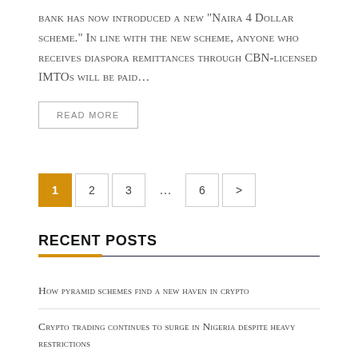bank has now introduced a new "Naira 4 Dollar scheme." In line with the new scheme, anyone who receives diaspora remittances through CBN-licensed IMTOs will be paid...
READ MORE
1 2 3 ... 6 >
RECENT POSTS
How pyramid schemes find a new haven in crypto
Crypto trading continues to surge in Nigeria despite heavy restrictions